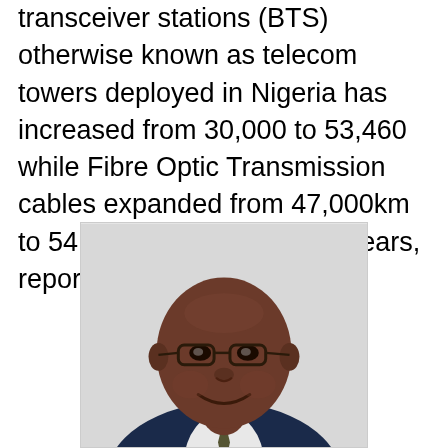transceiver stations (BTS) otherwise known as telecom towers deployed in Nigeria has increased from 30,000 to 53,460 while Fibre Optic Transmission cables expanded from 47,000km to 54,725km in the last five years, reports ITREALMS.
[Figure (photo): Portrait photo of a smiling middle-aged African man wearing glasses and a dark navy suit with a tie, against a light grey background.]